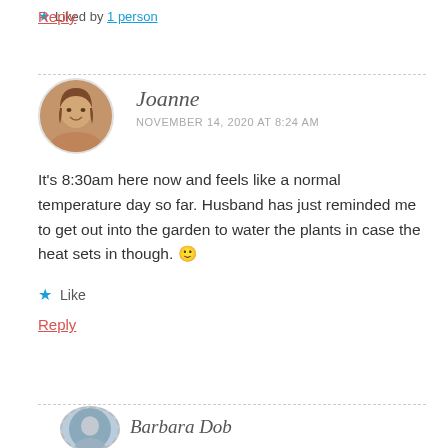Liked by 1 person
Reply
Joanne
NOVEMBER 14, 2020 AT 8:24 AM
It's 8:30am here now and feels like a normal temperature day so far. Husband has just reminded me to get out into the garden to water the plants in case the heat sets in though. 🙂
Like
Reply
Barbara Dob...